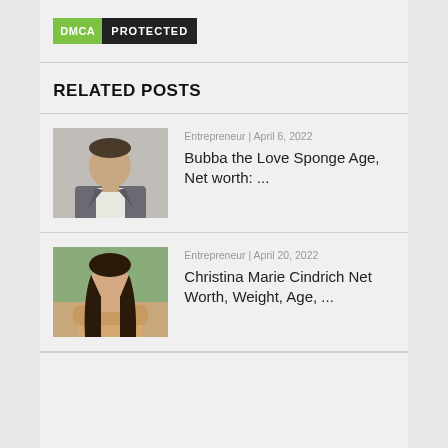[Figure (logo): DMCA Protected badge with green DMCA label and dark PROTECTED label]
RELATED POSTS
[Figure (photo): Thumbnail photo of a man in a suit (Bubba the Love Sponge)]
Entrepreneur | April 6, 2022
Bubba the Love Sponge Age, Net worth: ...
[Figure (photo): Thumbnail photo of a woman with long dark hair (Christina Marie Cindrich)]
Entrepreneur | April 20, 2022
Christina Marie Cindrich Net Worth, Weight, Age, ...